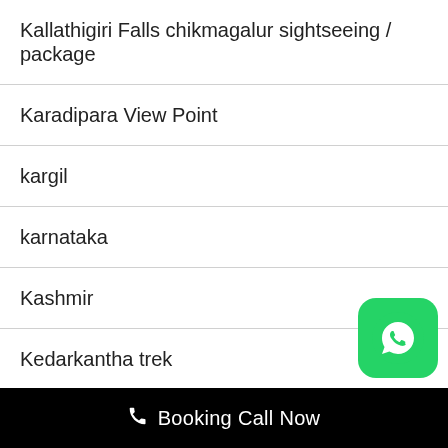Kallathigiri Falls chikmagalur sightseeing / package
Karadipara View Point
kargil
karnataka
Kashmir
Kedarkantha trek
Kedarnath
Kemmangundi chikmagalur sightseeing / package
Kerala
📞 Booking Call Now